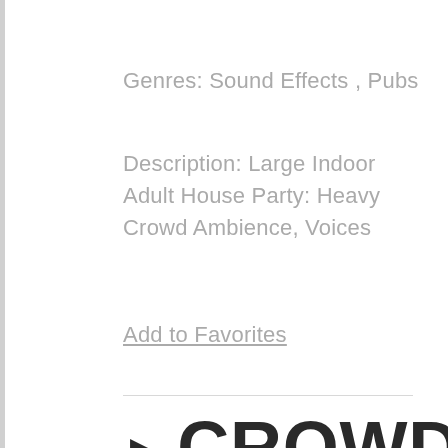Genres: Sound Effects , Pubs
Description: Large Indoor Adult House Party: Heavy Crowd Ambience, Voices
Add to Favorites
▶  CROWD, BAR,